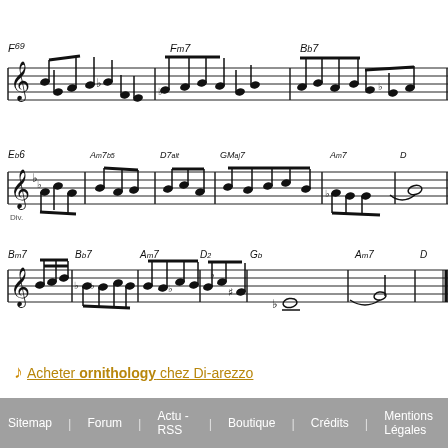[Figure (other): Musical score excerpt showing three lines of sheet music with chord symbols including F69, Fm7, Bb7, Eb6, Am7b5, D7alt, GMaj7, Am7, Bm7, Bb7, Am7, D2, Gb, Am7. Notes are handwritten style on standard five-line staff.]
🎵 Acheter ornithology chez Di-arezzo
Sitemap | Forum | Actu - RSS | Boutique | Crédits | Mentions Légales